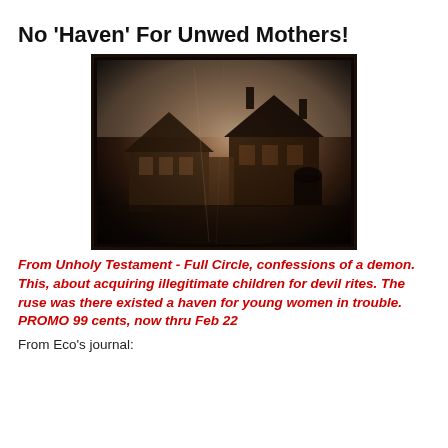No 'Haven' For Unwed Mothers!
[Figure (photo): Sepia-toned vintage photograph of a large half-timbered manor house with steep gabled roofs and chimneys, surrounded by a dark vignette border, giving an ominous appearance.]
From Unholy Testament - Full Circle, confessions of a demon. This, about acquiring illegitimate children for devil rites. The ruse was there existed a haven for young women in trouble.
PROMO 99 cents, now thru Feb 22
From Eco's journal: